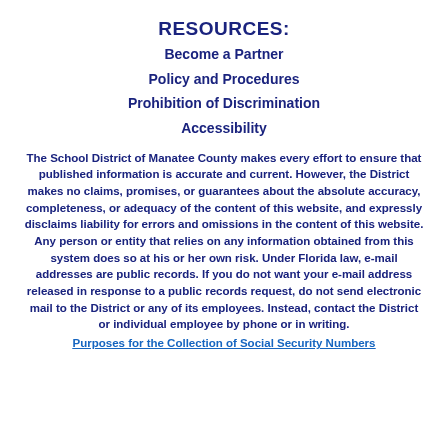RESOURCES:
Become a Partner
Policy and Procedures
Prohibition of Discrimination
Accessibility
The School District of Manatee County makes every effort to ensure that published information is accurate and current. However, the District makes no claims, promises, or guarantees about the absolute accuracy, completeness, or adequacy of the content of this website, and expressly disclaims liability for errors and omissions in the content of this website. Any person or entity that relies on any information obtained from this system does so at his or her own risk. Under Florida law, e-mail addresses are public records. If you do not want your e-mail address released in response to a public records request, do not send electronic mail to the District or any of its employees. Instead, contact the District or individual employee by phone or in writing.
Purposes for the Collection of Social Security Numbers